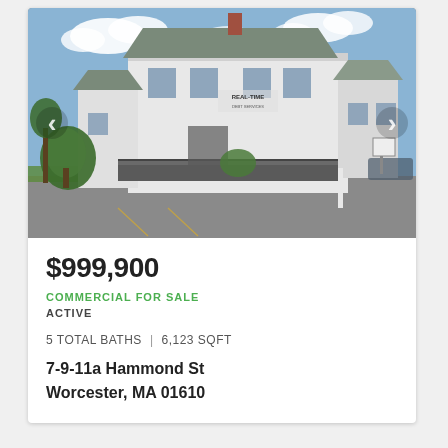[Figure (photo): Exterior photo of a large white two-story commercial building with a deck/ramp, parking lot in front, and signage reading 'Real-Time' on the building. Blue sky with clouds in background. Navigation arrows on left and right sides of the photo.]
$999,900
COMMERCIAL FOR SALE
ACTIVE
5 TOTAL BATHS | 6,123 SQFT
7-9-11a Hammond St
Worcester, MA 01610